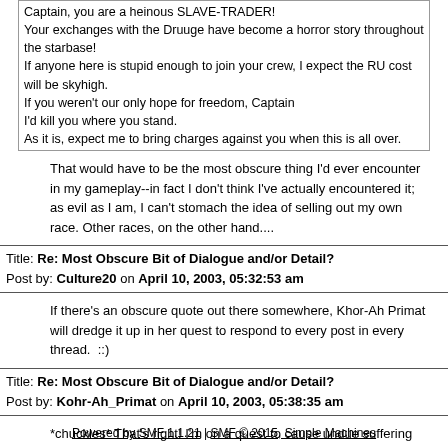Captain, you are a heinous SLAVE-TRADER!
Your exchanges with the Druuge have become a horror story throughout the starbase!
If anyone here is stupid enough to join your crew, I expect the RU cost will be skyhigh.
If you weren't our only hope for freedom, Captain
I'd kill you where you stand.
As it is, expect me to bring charges against you when this is all over.
That would have to be the most obscure thing I'd ever encounter in my gameplay--in fact I don't think I've actually encountered it; as evil as I am, I can't stomach the idea of selling out my own race. Other races, on the other hand....
Title: Re: Most Obscure Bit of Dialogue and/or Detail?
Post by: Culture20 on April 10, 2003, 05:32:53 am
If there's an obscure quote out there somewhere, Khor-Ah Primat will dredge it up in her quest to respond to every post in every thread.  ::)
Title: Re: Most Obscure Bit of Dialogue and/or Detail?
Post by: Kohr-Ah_Primat on April 10, 2003, 05:38:35 am
*chuckles* That's right! I'm on a quest to cause undue suffering and misery to all!
Powered by SMF 1.1.21 | SMF © 2015, Simple Machines